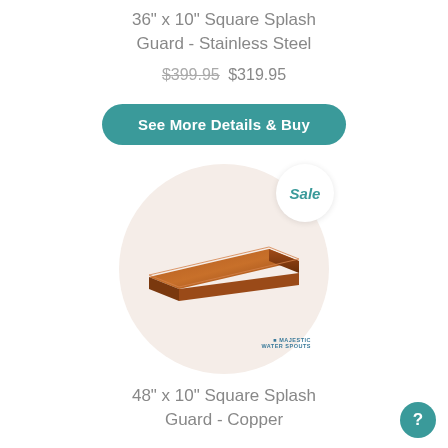36" x 10" Square Splash Guard - Stainless Steel
$399.95 $319.95
See More Details & Buy
[Figure (photo): Product photo of a copper/brown rectangular splash guard tray, shown at an angle, inside a circular beige/pink background with a Majestic Water Spouts watermark. A 'Sale' badge appears in a white circle overlay.]
48" x 10" Square Splash Guard - Copper
$499.95 $469.95